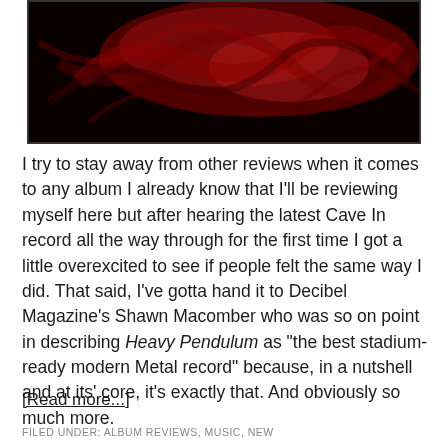[Figure (photo): Dark red and black swirling abstract image, album artwork with fiery textured background]
I try to stay away from other reviews when it comes to any album I already know that I'll be reviewing myself here but after hearing the latest Cave In record all the way through for the first time I got a little overexcited to see if people felt the same way I did. That said, I've gotta hand it to Decibel Magazine's Shawn Macomber who was so on point in describing Heavy Pendulum as "the best stadium-ready modern Metal record" because, in a nutshell and at its' core, it's exactly that. And obviously so much more.
[Read more...]
FILED UNDER: ALBUM REVIEWS, MUSIC, NEW